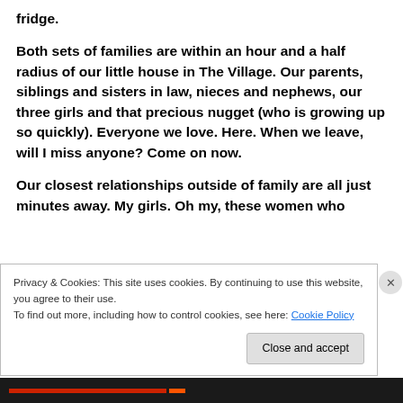fridge.
Both sets of families are within an hour and a half radius of our little house in The Village. Our parents, siblings and sisters in law, nieces and nephews, our three girls and that precious nugget (who is growing up so quickly). Everyone we love. Here. When we leave, will I miss anyone? Come on now.
Our closest relationships outside of family are all just minutes away. My girls. Oh my, these women who
Privacy & Cookies: This site uses cookies. By continuing to use this website, you agree to their use.
To find out more, including how to control cookies, see here: Cookie Policy
Close and accept